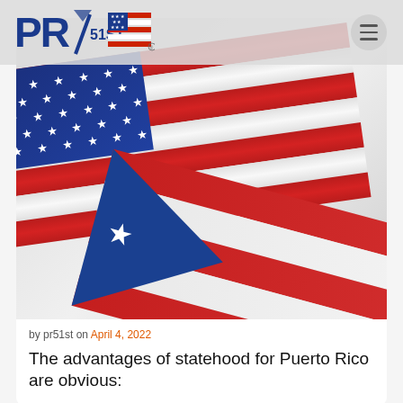[Figure (logo): PR51st logo with American flag motif, blue PR text and red/white stripes flag graphic with 51ST text]
[Figure (photo): Close-up photo of American flag and Puerto Rico flag overlapping, showing stars, red stripes, white stripes, and the blue triangle with white star of the Puerto Rico flag]
by pr51st on April 4, 2022
The advantages of statehood for Puerto Rico are obvious: